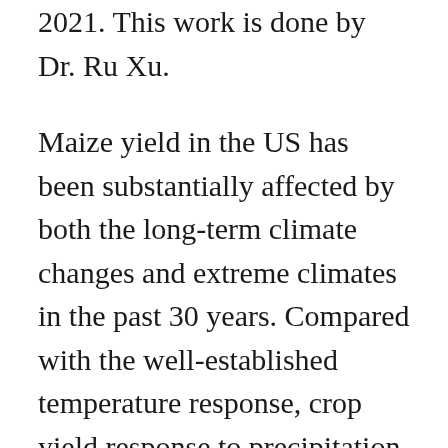2021. This work is done by Dr. Ru Xu.
Maize yield in the US has been substantially affected by both the long-term climate changes and extreme climates in the past 30 years. Compared with the well-established temperature response, crop yield response to precipitation receives much less attention and is much more uncertain. The inadequate knowledge limits our